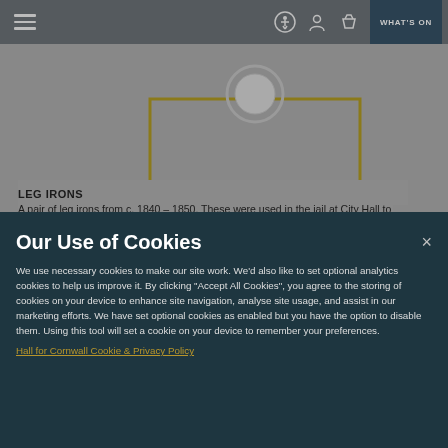Navigation bar with hamburger menu, accessibility icon, account icon, basket icon, and WHAT'S ON button
[Figure (photo): Cropped museum exhibit image with gold frame border, showing top of artifact display]
LEG IRONS
A pair of leg irons from c. 1840 - 1850. These were used in the jail at City Hall to keep those who had been apprehended secure in the jailyard, cells or even in the
Our Use of Cookies
We use necessary cookies to make our site work. We'd also like to set optional analytics cookies to help us improve it. By clicking "Accept All Cookies", you agree to the storing of cookies on your device to enhance site navigation, analyse site usage, and assist in our marketing efforts. We have set optional cookies as enabled but you have the option to disable them. Using this tool will set a cookie on your device to remember your preferences.
Hall for Cornwall Cookie & Privacy Policy